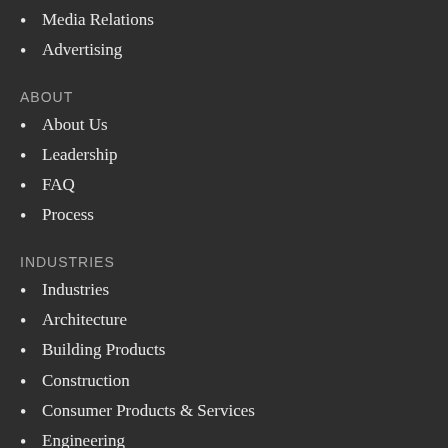Media Relations
Advertising
ABOUT
About Us
Leadership
FAQ
Process
INDUSTRIES
Industries
Architecture
Building Products
Construction
Consumer Products & Services
Engineering
Horticulture & Landscape